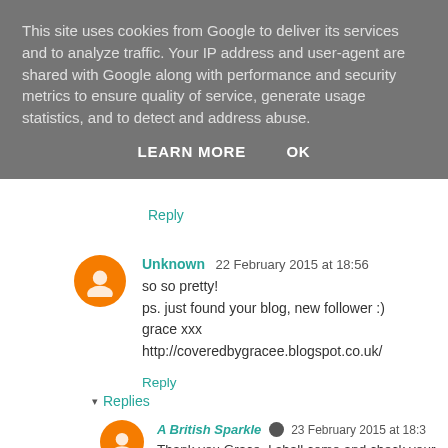This site uses cookies from Google to deliver its services and to analyze traffic. Your IP address and user-agent are shared with Google along with performance and security metrics to ensure quality of service, generate usage statistics, and to detect and address abuse.
LEARN MORE   OK
Reply
Unknown  22 February 2015 at 18:56
so so pretty!
ps. just found your blog, new follower :)
grace xxx
http://coveredbygracee.blogspot.co.uk/
Reply
Replies
A British Sparkle  23 February 2015 at 18:3
Thank you Grace, I shall come and check your